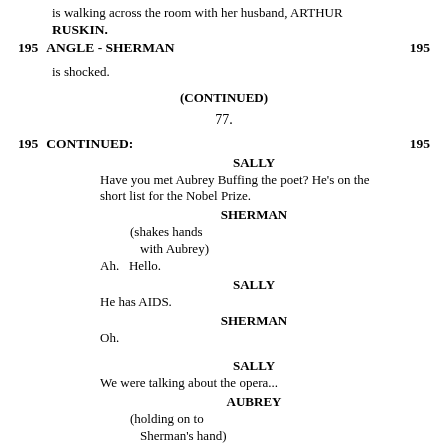is walking across the room with her husband, ARTHUR RUSKIN.
195   ANGLE - SHERMAN                                195
is shocked.
(CONTINUED)
77.
195   CONTINUED:                                      195
SALLY
Have you met Aubrey Buffing the poet? He's on the short list for the Nobel Prize.
SHERMAN
(shakes hands with Aubrey)
Ah.   Hello.
SALLY
He has AIDS.
SHERMAN
Oh.
SALLY
We were talking about the opera...
AUBREY
(holding on to Sherman's hand)
The wrath of heaven must be at *